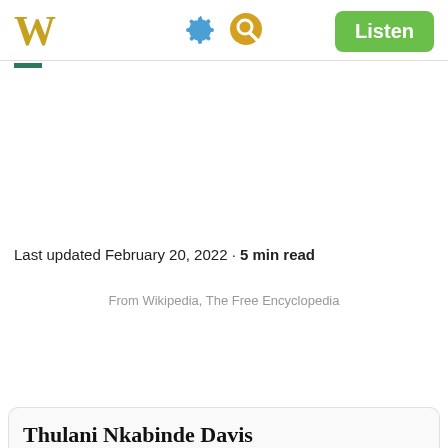W
Last updated February 20, 2022 • 5 min read
From Wikipedia, The Free Encyclopedia
Thulani Nkabinde Davis